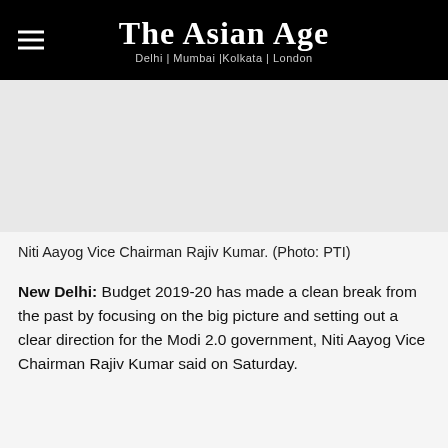The Asian Age — Delhi | Mumbai |Kolkata | London
[Figure (photo): Placeholder image area for photo of Niti Aayog Vice Chairman Rajiv Kumar]
Niti Aayog Vice Chairman Rajiv Kumar. (Photo: PTI)
New Delhi: Budget 2019-20 has made a clean break from the past by focusing on the big picture and setting out a clear direction for the Modi 2.0 government, Niti Aayog Vice Chairman Rajiv Kumar said on Saturday.